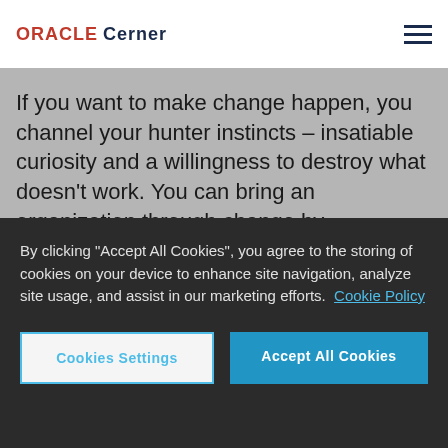ORACLE Cerner
If you want to make change happen, you channel your hunter instincts – insatiable curiosity and a willingness to destroy what doesn't work. You can bring an organization through change by workshopping what that change looks like and involving lots of people in the co-creation of where you're headed. It also
By clicking "Accept All Cookies", you agree to the storing of cookies on your device to enhance site navigation, analyze site usage, and assist in our marketing efforts. Cookie Policy
Cookies Settings
Accept All Cookies